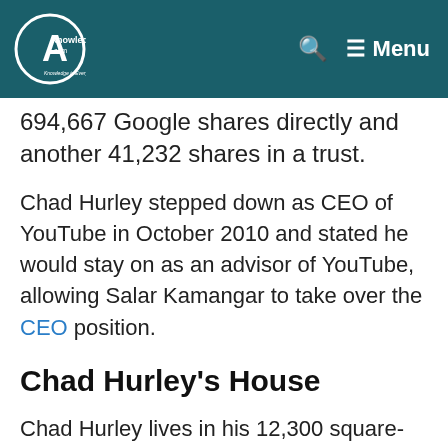AKnowledge.com — Menu
694,667 Google shares directly and another 41,232 shares in a trust.
Chad Hurley stepped down as CEO of YouTube in October 2010 and stated he would stay on as an advisor of YouTube, allowing Salar Kamangar to take over the CEO position.
Chad Hurley's House
Chad Hurley lives in his 12,300 square-foot luxury house located in California. Jay Leno